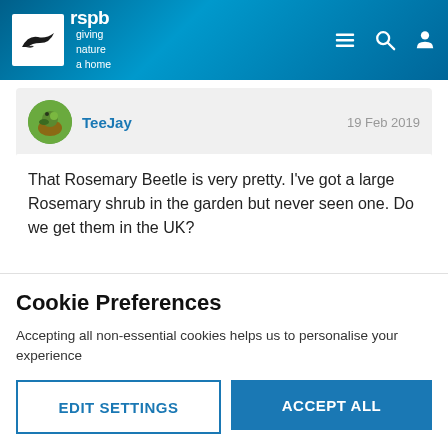[Figure (logo): RSPB logo with bird silhouette and text 'giving nature a home' on blue textured header background with hamburger menu, search and profile icons]
TeeJay
19 Feb 2019
That Rosemary Beetle is very pretty. I've got a large Rosemary shrub in the garden but never seen one. Do we get them in the UK?
Cookie Preferences
Accepting all non-essential cookies helps us to personalise your experience
EDIT SETTINGS
ACCEPT ALL